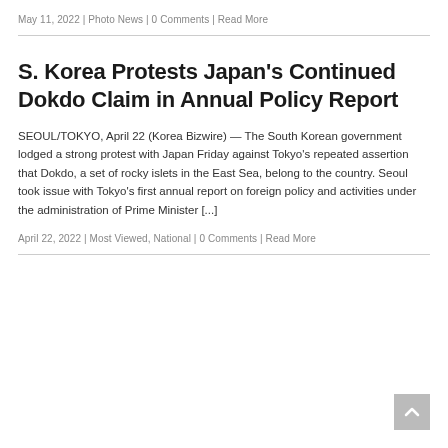May 11, 2022 | Photo News | 0 Comments | Read More
S. Korea Protests Japan's Continued Dokdo Claim in Annual Policy Report
SEOUL/TOKYO, April 22 (Korea Bizwire) — The South Korean government lodged a strong protest with Japan Friday against Tokyo's repeated assertion that Dokdo, a set of rocky islets in the East Sea, belong to the country. Seoul took issue with Tokyo's first annual report on foreign policy and activities under the administration of Prime Minister [...]
April 22, 2022 | Most Viewed, National | 0 Comments | Read More